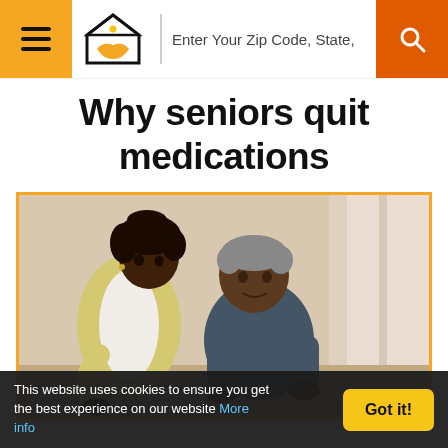Enter Your Zip Code, State,
Why seniors quit medications
[Figure (photo): A young Black woman in a yellow cardigan leaning over to assist an elderly Black man in a navy sweatshirt who is seated, in a home setting with curtains in background.]
This website uses cookies to ensure you get the best experience on our website More info
Got it!